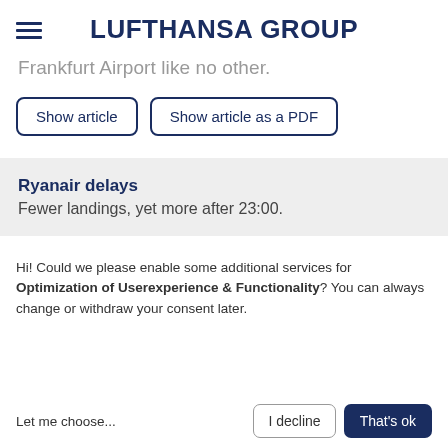LUFTHANSA GROUP
Frankfurt Airport like no other.
Show article
Show article as a PDF
Ryanair delays
Fewer landings, yet more after 23:00.
Hi! Could we please enable some additional services for Optimization of Userexperience & Functionality? You can always change or withdraw your consent later.
Let me choose...
I decline
That's ok